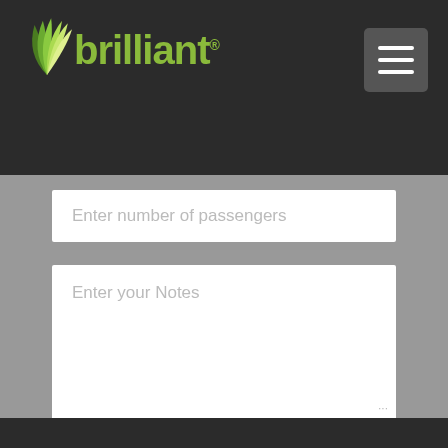[Figure (logo): Brilliant logo with green leaf/wing graphic and green text 'brilliant' on dark background header]
[Figure (screenshot): Navigation menu button (hamburger icon) in top right corner on dark header]
Enter number of passengers
Enter your Notes
Request my quote